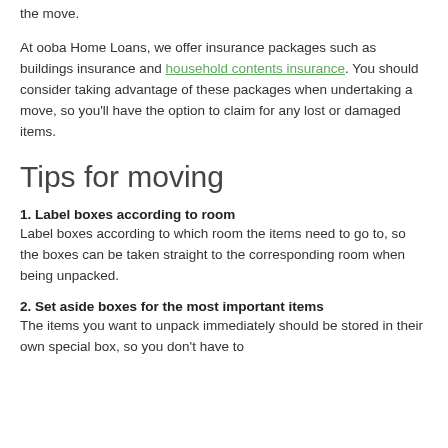the move.
At ooba Home Loans, we offer insurance packages such as buildings insurance and household contents insurance. You should consider taking advantage of these packages when undertaking a move, so you'll have the option to claim for any lost or damaged items.
Tips for moving
1. Label boxes according to room
Label boxes according to which room the items need to go to, so the boxes can be taken straight to the corresponding room when being unpacked.
2. Set aside boxes for the most important items
The items you want to unpack immediately should be stored in their own special box, so you don't have to